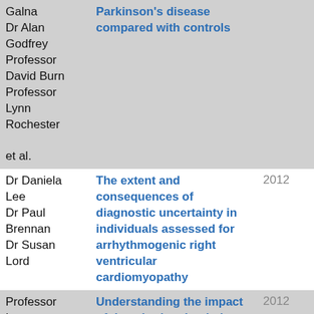| Author | Title | Year |
| --- | --- | --- |
| Galna
Dr Alan Godfrey
Professor David Burn
Professor Lynn Rochester
et al. | Parkinson's disease compared with controls |  |
| Dr Daniela Lee
Dr Paul Brennan
Dr Susan Lord | The extent and consequences of diagnostic uncertainty in individuals assessed for arrhythmogenic right ventricular cardiomyopathy | 2012 |
| Professor Lynn Rochester
Dr Susan | Understanding the impact of deep brain stimulation on ambulatory activity in | 2012 |